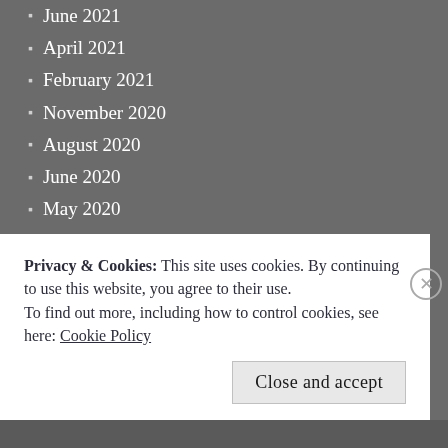June 2021
April 2021
February 2021
November 2020
August 2020
June 2020
May 2020
March 2020
February 2020
January 2020
December 2019
November 2019
October 2019
September 2019
August 2019
July 2019
May 2019
Privacy & Cookies: This site uses cookies. By continuing to use this website, you agree to their use. To find out more, including how to control cookies, see here: Cookie Policy